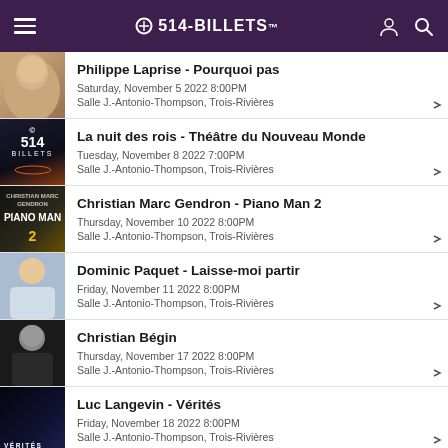514-BILLETS
Philippe Laprise - Pourquoi pas
Saturday, November 5 2022 8:00PM
Salle J.-Antonio-Thompson, Trois-Rivières
La nuit des rois - Théâtre du Nouveau Monde
Tuesday, November 8 2022 7:00PM
Salle J.-Antonio-Thompson, Trois-Rivières
Christian Marc Gendron - Piano Man 2
Thursday, November 10 2022 8:00PM
Salle J.-Antonio-Thompson, Trois-Rivières
Dominic Paquet - Laisse-moi partir
Friday, November 11 2022 8:00PM
Salle J.-Antonio-Thompson, Trois-Rivières
Christian Bégin
Thursday, November 17 2022 8:00PM
Salle J.-Antonio-Thompson, Trois-Rivières
Luc Langevin - Vérités
Friday, November 18 2022 8:00PM
Salle J.-Antonio-Thompson, Trois-Rivières
QW4RTZ